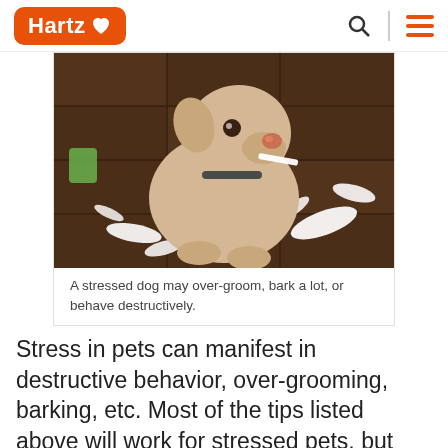Hartz
[Figure (photo): A light-colored dog (Labrador mix) sitting on a wooden tile floor surrounded by shredded white tissue paper, looking up at the camera with a guilty expression.]
A stressed dog may over-groom, bark a lot, or behave destructively.
Stress in pets can manifest in destructive behavior, over-grooming, barking, etc. Most of the tips listed above will work for stressed pets, but also consider having someone come to visit your pet while you are out of the house with a professional pet sitter.